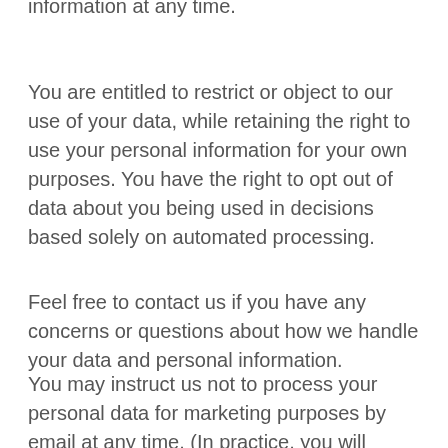information at any time.
You are entitled to restrict or object to our use of your data, while retaining the right to use your personal information for your own purposes. You have the right to opt out of data about you being used in decisions based solely on automated processing.
Feel free to contact us if you have any concerns or questions about how we handle your data and personal information.
You may instruct us not to process your personal data for marketing purposes by email at any time. (In practice, you will usually either expressly agree in advance to our use of your personal data for marketing purposes, or we will provide you with an